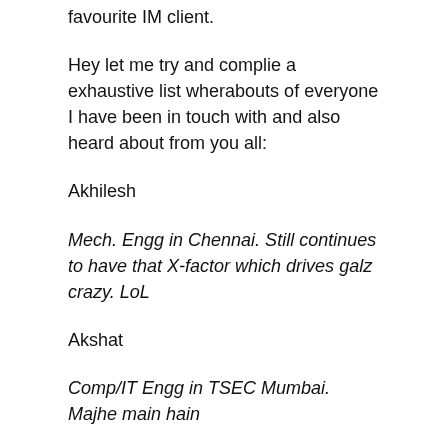favourite IM client.
Hey let me try and complie a exhaustive list wherabouts of everyone I have been in touch with and also heard about from you all:
Akhilesh
Mech. Engg in Chennai. Still continues to have that X-factor which drives galz crazy. LoL
Akshat
Comp/IT Engg in TSEC Mumbai. Majhe main hain
Akshata